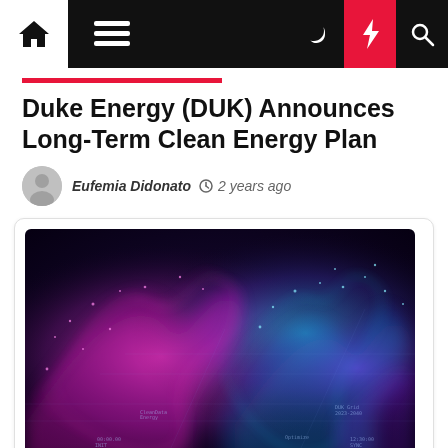Navigation bar with home, menu, dark mode, lightning, and search icons
Duke Energy (DUK) Announces Long-Term Clean Energy Plan
Eufemia Didonato  2 years ago
[Figure (photo): Abstract digital visualization of colorful energy waves — pink/magenta and cyan/blue glowing waveforms rising from a dark background, suggesting data or energy flow. Resembles a futuristic data landscape.]